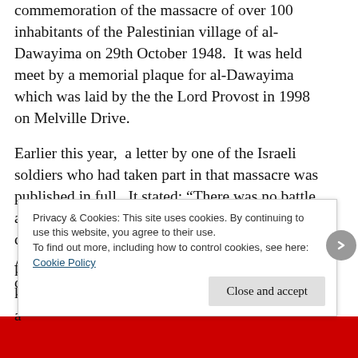commemoration of the massacre of over 100 inhabitants of the Palestinian village of al-Dawayima on 29th October 1948.  It was held meet by a memorial plaque for al-Dawayima which was laid by the the Lord Provost in 1998 on Melville Drive.
Earlier this year,  a letter by one of the Israeli soldiers who had taken part in that massacre was published in full.  It stated: “There was no battle and no resistance (and no Egyptians). The first conquerors killed from eighty to a hundred Arabs [including] women and children. The children were
Privacy & Cookies: This site uses cookies. By continuing to use this website, you agree to their use.
To find out more, including how to control cookies, see here:
Cookie Policy
Close and accept